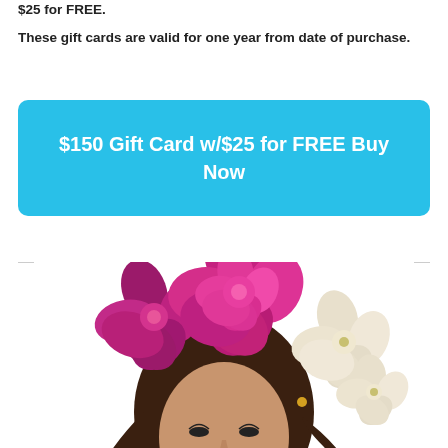$25 for FREE.
These gift cards are valid for one year from date of purchase.
$150 Gift Card w/$25 for FREE Buy Now
[Figure (photo): Woman with large magenta/pink and white floral crown on her head, photographed from slightly below, with long dark hair flowing.]